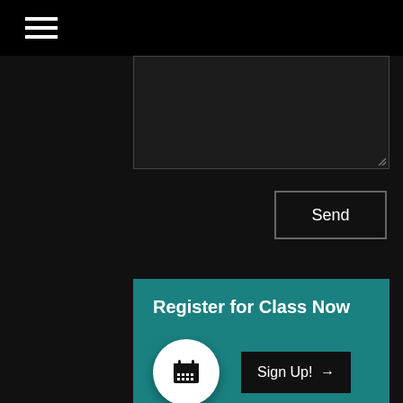[Figure (screenshot): Dark navigation bar with hamburger menu icon (three white horizontal lines) on black background]
[Figure (screenshot): Dark textarea input box with resize handle at bottom right]
Send
Register for Class Now
[Figure (screenshot): Teal card with calendar icon in white circle and Sign Up! button]
Sign Up! →
Quick Links
OUR TEAM